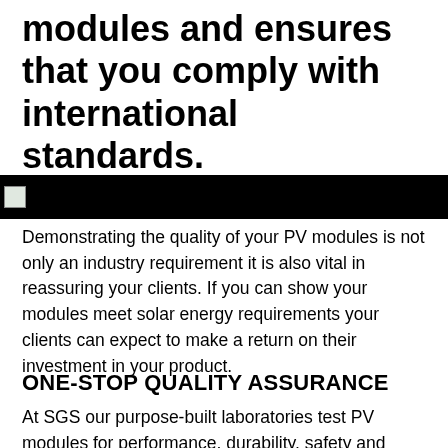modules and ensures that you comply with international standards.
[Figure (photo): Black banner/header bar with a small image icon at the left edge]
Demonstrating the quality of your PV modules is not only an industry requirement it is also vital in reassuring your clients. If you can show your modules meet solar energy requirements your clients can expect to make a return on their investment in your product.
ONE-STOP QUALITY ASSURANCE
At SGS our purpose-built laboratories test PV modules for performance, durability, safety and compliance with legal regulations in line with IEC standards. Our solar certification program is aimed at providing you with a selling argument and confirmation that your products